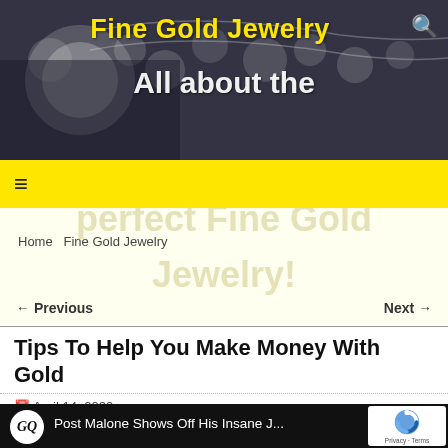[Figure (screenshot): Website header banner with jewelry photo background showing pearls and rings, with 'Fine Gold Jewelry' site title in yellow bold text and search icon]
Fine Gold Jewelry
All about the perfect Fine Gold Jewelry!
≡ (hamburger menu)
Home  Fine Gold Jewelry
← Previous   Next →
Tips To Help You Make Money With Gold
April 14, 2020
[Figure (screenshot): GQ YouTube video thumbnail: 'Post Malone Shows Off His Insane J...' with GQ logo, person visible in lower center, car in lower right, reCAPTCHA badge in top right corner with Privacy - Terms text]